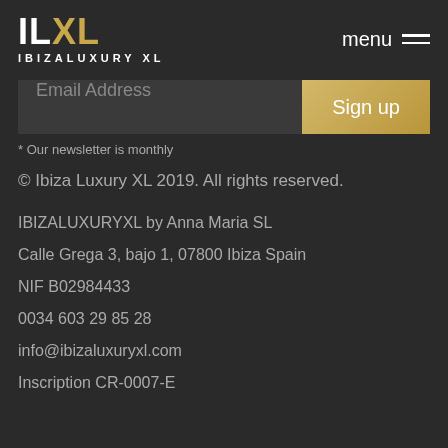[Figure (logo): ILXL logo with IBIZALUXURY XL text below]
menu ≡
Email Address   Sign up
* Our newsletter is monthly
© Ibiza Luxury XL 2019. All rights reserved.
IBIZALUXURYXL by Anna Maria SL
Calle Grega 3, bajo 1, 07800 Ibiza Spain
NIF B02984433
0034 603 29 85 28
info@ibizaluxuryxl.com
Inscription CR-0007-E